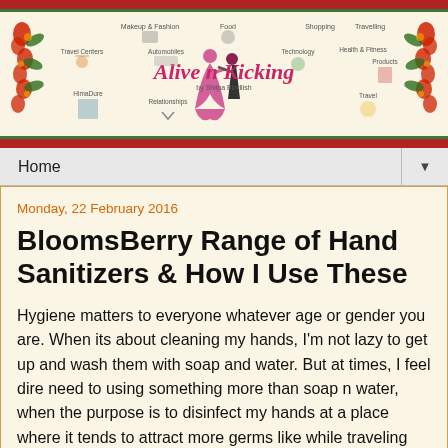[Figure (illustration): Blog header banner for 'Alive n Kicking by Shilpa Bindlish' featuring various lifestyle category icons (Makeup & Fashion, Food, Automobiles, Relationships, Shopping, Travelling, Health & Fitness, Products, HimaDure, Travel Centers, Technology) with decorative floral borders in red and green, and a central dancing couple silhouette in pink.]
Home ▼
Monday, 22 February 2016
BloomsBerry Range of Hand Sanitizers & How I Use These
Hygiene matters to everyone whatever age or gender you are. When its about cleaning my hands, I'm not lazy to get up and wash them with soap and water. But at times, I feel dire need to using something more than soap n water, when the purpose is to disinfect my hands at a place where it tends to attract more germs like while traveling via public transport, before eating out, after using public convenience